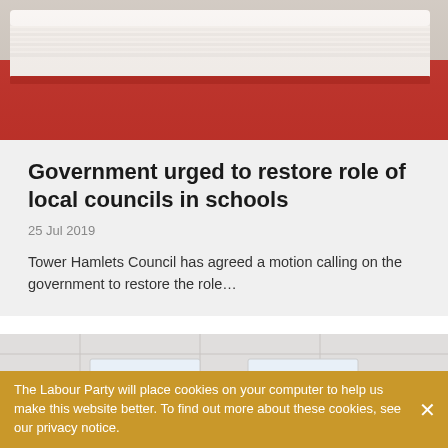[Figure (photo): Close-up photo of stacked books with red and white covers]
Government urged to restore role of local councils in schools
25 Jul 2019
Tower Hamlets Council has agreed a motion calling on the government to restore the role…
[Figure (photo): Interior of a room with ceiling lights and protest banners reading 'THIS IS A CHILDCARE MANIFESTO' and 'NET ZERO BY 2025']
The Labour Party will place cookies on your computer to help us make this website better. To find out more about these cookies, see our privacy notice.